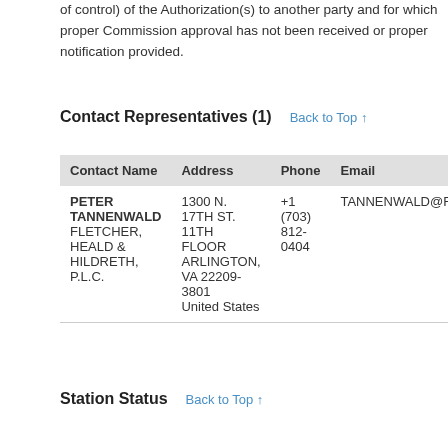of control) of the Authorization(s) to another party and for which proper Commission approval has not been received or proper notification provided.
Contact Representatives (1)
| Contact Name | Address | Phone | Email |
| --- | --- | --- | --- |
| PETER TANNENWALD
FLETCHER, HEALD & HILDRETH, P.L.C. | 1300 N. 17TH ST. 11TH FLOOR ARLINGTON, VA 22209-3801
United States | +1 (703) 812-0404 | TANNENWALD@FHHLAW |
Station Status